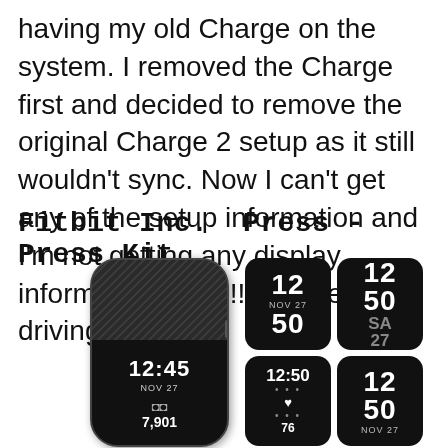having my old Charge on the system. I removed the Charge first and decided to remove the original Charge 2 setup as it still wouldn't sync. Now I can't get any of the setup information and I'm not getting any display information. Help!! This setup is driving me crazy.
Fitbit Inc. Press - Press Kit
[Figure (photo): Fitbit Charge 2 device showing 12:45, NOV 27, and 7,901 steps on the screen, alongside four clock face preview cards showing different time display styles: large digit (12/NOV27/50), compact with SA/27 (12/50/SA/27), analog dots with heart rate (12:50, heart, 76), and stacked time with NOV27 (12/50/NOV27).]